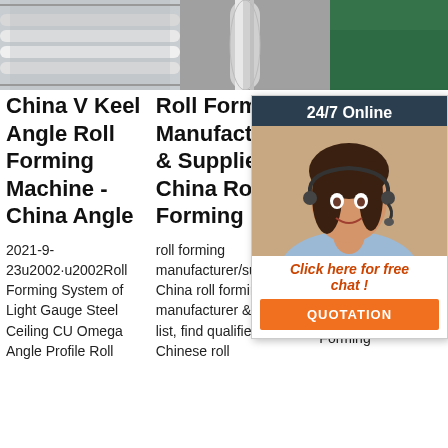[Figure (photo): Three product/machinery photos in a horizontal strip at the top: white cylinders on a roll forming conveyor, a steel rod/tube close-up on grey background, and a green factory background.]
China V Keel Angle Roll Forming Machine - China Angle
Roll Forming Manufacturers & Suppliers, China Roll Forming ...
C F L K F M
2021-9-23u2002·u2002Roll Forming System of Light Gauge Steel Ceiling CU Omega Angle Profile Roll
roll forming manufacturer/supplier China roll forming manufacturer & factory list, find qualified Chinese roll
F Gauge Keel Steel Framing Metal Stud and Track Roll Forming
[Figure (photo): Live chat widget overlay showing '24/7 Online' header, photo of a smiling woman with headset, 'Click here for free chat!' call to action, and an orange QUOTATION button.]